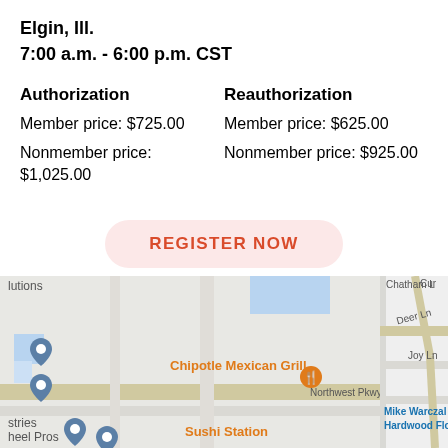Elgin, Ill.
7:00 a.m. - 6:00 p.m. CST
Authorization
Member price: $725.00
Nonmember price: $1,025.00
Reauthorization
Member price: $625.00
Nonmember price: $925.00
REGISTER NOW
[Figure (map): Google Maps showing location near Elgin, IL with Chipotle Mexican Grill, Sushi Station, Northwest Pkwy visible on the left panel, and Chatham, Deer Ln, Joy Ln, Mike Warczal Hardwood Flooring on the right panel.]